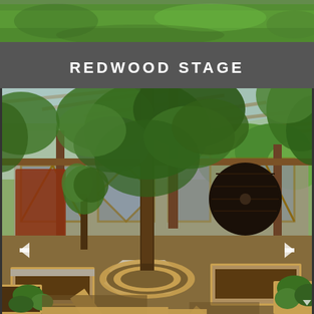[Figure (photo): Top strip photo showing green grass and outdoor scene]
REDWOOD STAGE
[Figure (photo): Interior of a greenhouse structure called Redwood Stage with raised garden beds made of cinder blocks and wood frames, a large circular dark wooden door on the back wall, trees growing inside, gravel pathways, and a glass/polycarbonate roof. A hexagonal raised bed surrounds the central tree with a circular wooden bench.]